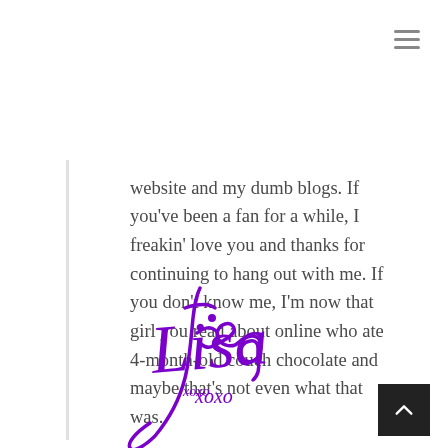[Figure (other): Hamburger menu icon (three horizontal lines) in the top right corner]
website and my dumb blogs. If you've been a fan for a while, I freakin' love you and thanks for continuing to hang out with me. If you don't know me, I'm now that girl you read about online who ate 4-month-old couch chocolate and maybe that's not even what that was.
[Figure (illustration): Purple cursive signature reading 'Lisa xoxo']